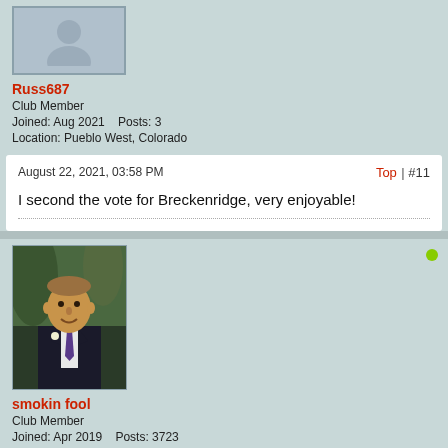[Figure (photo): Default grey avatar placeholder image for user Russ687]
Russ687
Club Member
Joined: Aug 2021    Posts: 3
Location: Pueblo West, Colorado
August 22, 2021, 03:58 PM    Top | #11
I second the vote for Breckenridge, very enjoyable!
[Figure (photo): Profile photo of user smokin fool, man in dark suit with purple tie at formal occasion, outdoor background with trees]
smokin fool
Club Member
Joined: Apr 2019    Posts: 3723
Location: Mississauga, Ont